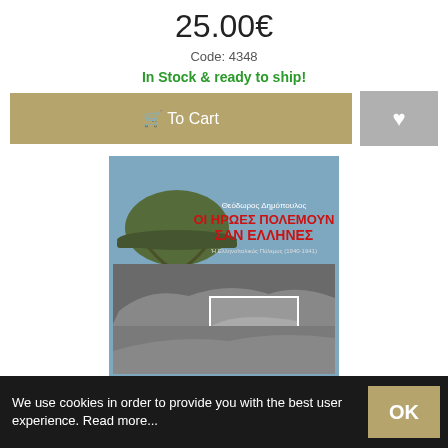25.00€
Code: 4348
In Stock & ready to ship!
🛒 To Cart
[Figure (photo): Book cover: 'Οι Ήρωες Πολεμούν Σαν Έλληνες' by Θεόδωρος Δημόπουλος, showing a Greek military helmet and historical black-and-white photographs of soldiers]
We use cookies in order to provide you with the best user experience. Read more...